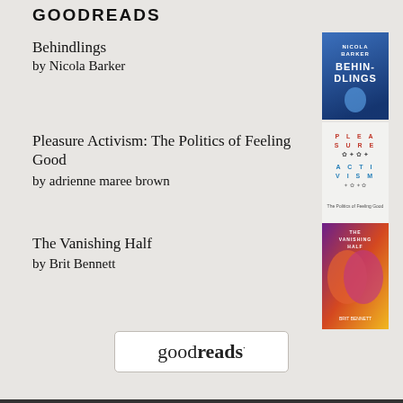GOODREADS
Behindlings
by Nicola Barker
[Figure (illustration): Book cover of Behindlings by Nicola Barker — blue cover with stylized text]
Pleasure Activism: The Politics of Feeling Good
by adrienne maree brown
[Figure (illustration): Book cover of Pleasure Activism — white cover with text arranged in a grid pattern]
The Vanishing Half
by Brit Bennett
[Figure (illustration): Book cover of The Vanishing Half by Brit Bennett — colorful cover with purple, orange and yellow tones]
[Figure (logo): Goodreads logo in a rounded rectangle box, text reads 'goodreads']